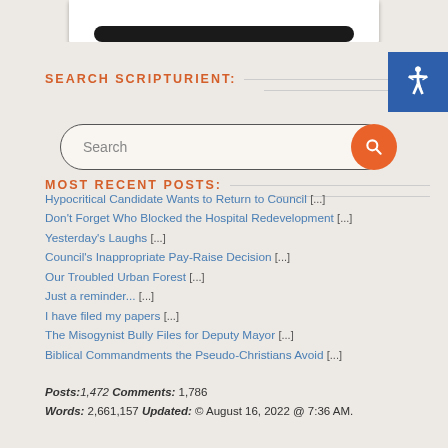[Figure (illustration): Bottom portion of a device (likely a phone or tablet) shown from the top of the page, showing the bottom edge in dark/black color against white background.]
SEARCH SCRIPTURIENT:
[Figure (screenshot): Search box with placeholder text 'Search' and an orange circular search button on the right side.]
MOST RECENT POSTS:
Hypocritical Candidate Wants to Return to Council [...]
Don't Forget Who Blocked the Hospital Redevelopment [...]
Yesterday's Laughs [...]
Council's Inappropriate Pay-Raise Decision [...]
Our Troubled Urban Forest [...]
Just a reminder... [...]
I have filed my papers [...]
The Misogynist Bully Files for Deputy Mayor [...]
Biblical Commandments the Pseudo-Christians Avoid [...]
Posts: 1,472 Comments: 1,786
Words: 2,661,157 Updated: © August 16, 2022 @ 7:36 AM.